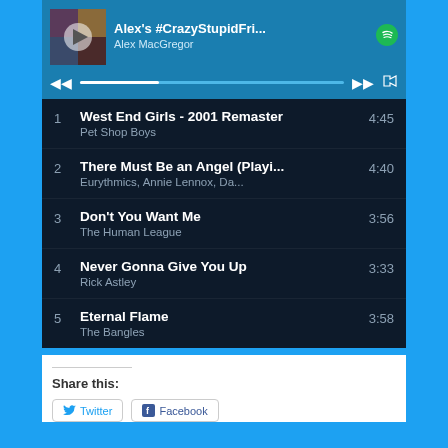[Figure (screenshot): Spotify playlist embed showing 'Alex's #CrazyStupidFri...' by Alex MacGregor with 5 tracks, player controls, and a share section below.]
1  West End Girls - 2001 Remaster  4:45
   Pet Shop Boys
2  There Must Be an Angel (Playi...  4:40
   Eurythmics, Annie Lennox, Da...
3  Don't You Want Me  3:56
   The Human League
4  Never Gonna Give You Up  3:33
   Rick Astley
5  Eternal Flame  3:58
   The Bangles
Share this:
Twitter  Facebook